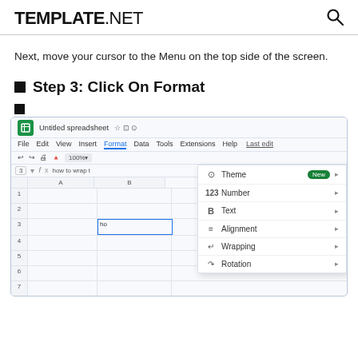TEMPLATE.NET
Next, move your cursor to the Menu on the top side of the screen.
Step 3: Click On Format
[Figure (screenshot): Google Sheets screenshot showing Format menu open with options: Theme (New), Number, Text, Alignment, Wrapping, Rotation]